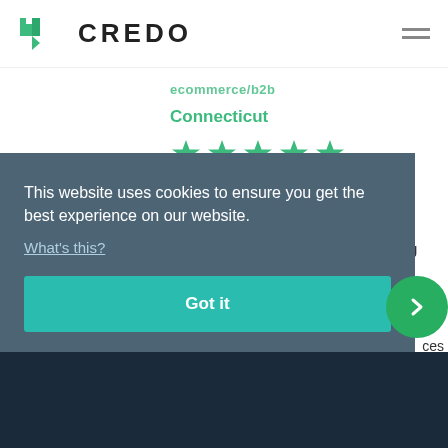CREDO
ecommerce/b2b
Connecticut
[Figure (other): Five green star rating icons]
10 verified reviews
Small Team. Big Ideas. Exceptional Results. We provide digital marketing support for marketing teams and
This website uses cookies to ensure you get the best experience on our website.
What's this?
Got it